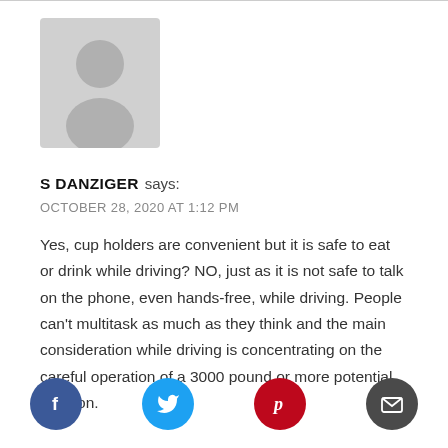[Figure (illustration): Gray avatar placeholder image showing a silhouette of a person (head and shoulders) on a light gray background]
S DANZIGER says:
OCTOBER 28, 2020 AT 1:12 PM
Yes, cup holders are convenient but it is safe to eat or drink while driving? NO, just as it is not safe to talk on the phone, even hands-free, while driving. People can't multitask as much as they think and the main consideration while driving is concentrating on the careful operation of a 3000 pound or more potential weapon.
[Figure (infographic): Four social sharing buttons: Facebook (blue circle with f), Twitter (cyan circle with bird), Pinterest (red circle with p), Email (dark gray circle with envelope)]